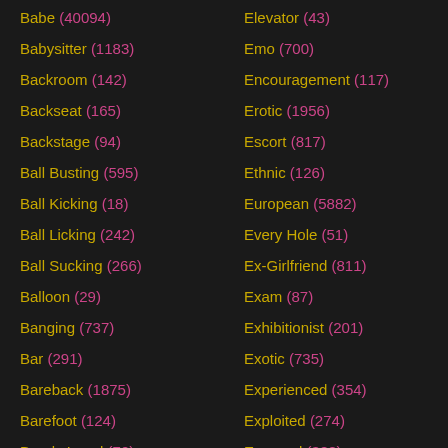Babe (40094)
Babysitter (1183)
Backroom (142)
Backseat (165)
Backstage (94)
Ball Busting (595)
Ball Kicking (18)
Ball Licking (242)
Ball Sucking (266)
Balloon (29)
Banging (737)
Bar (291)
Bareback (1875)
Barefoot (124)
Barely Legal (70)
Elevator (43)
Emo (700)
Encouragement (117)
Erotic (1956)
Escort (817)
Ethnic (126)
European (5882)
Every Hole (51)
Ex-Girlfriend (811)
Exam (87)
Exhibitionist (201)
Exotic (735)
Experienced (354)
Exploited (274)
Exposed (388)